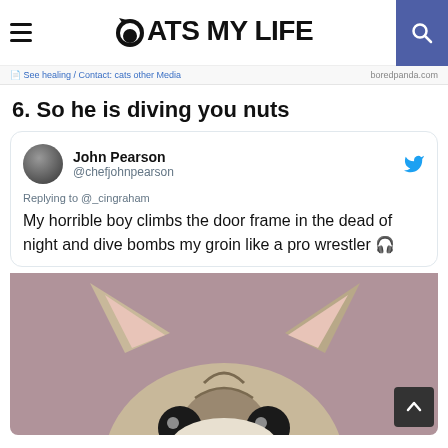CATS MY LIFE
See heating / Contact: cats other... boredpanda.com
6. So he is diving you nuts
[Figure (screenshot): Tweet by John Pearson (@chefjohnpearson) replying to @_cingraham: 'My horrible boy climbs the door frame in the dead of night and dive bombs my groin like a pro wrestler 🎧']
[Figure (photo): Close-up photo of a cat's face peeking up from below, with large eyes and pointed ears visible against a purple/pink background]